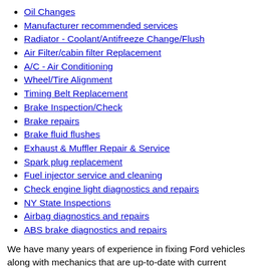Oil Changes
Manufacturer recommended services
Radiator - Coolant/Antifreeze Change/Flush
Air Filter/cabin filter Replacement
A/C - Air Conditioning
Wheel/Tire Alignment
Timing Belt Replacement
Brake Inspection/Check
Brake repairs
Brake fluid flushes
Exhaust & Muffler Repair & Service
Spark plug replacement
Fuel injector service and cleaning
Check engine light diagnostics and repairs
NY State Inspections
Airbag diagnostics and repairs
ABS brake diagnostics and repairs
We have many years of experience in fixing Ford vehicles along with mechanics that are up-to-date with current technology and equipment. Our knowledgeable and friendly staff is here to help you with all of your auto service and repair needs.
Our Ford repair and service shop is located in Watervliet